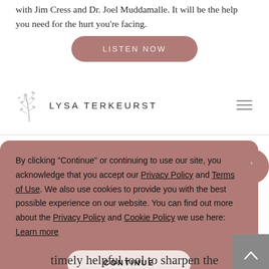with Jim Cress and Dr. Joel Muddamalle. It will be the help you need for the hurt you're facing.
LISTEN NOW
[Figure (logo): Lysa TerKeurst logo with decorative leaf/botanical illustration above the text]
By clicking "Continue" or continuing to use our site, you acknowledge that you accept our Privacy Policy and Terms of Use. We also use cookies to provide you with the best possible experience on our website. You can find out more about the Privacy Policy and Cookie Policy we use here: Learn more
CONTINUE
timely helpful tool to sharpen the